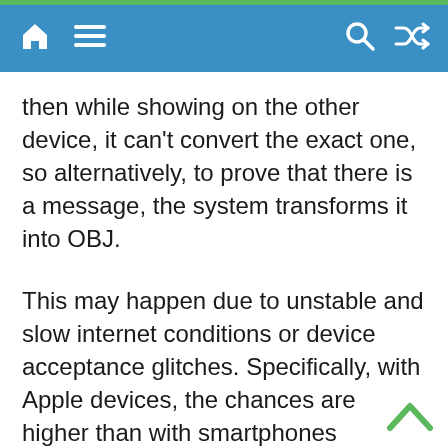Navigation bar with home, menu, search, and shuffle icons
then while showing on the other device, it can't convert the exact one, so alternatively, to prove that there is a message, the system transforms it into OBJ.
This may happen due to unstable and slow internet conditions or device acceptance glitches. Specifically, with Apple devices, the chances are higher than with smartphones because the android users rate it taller than the Apple users.